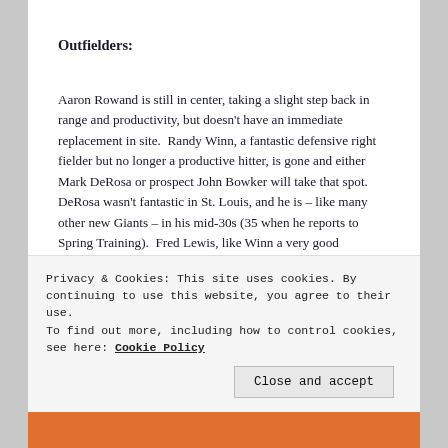Outfielders:
Aaron Rowand is still in center, taking a slight step back in range and productivity, but doesn't have an immediate replacement in site.  Randy Winn, a fantastic defensive right fielder but no longer a productive hitter, is gone and either Mark DeRosa or prospect John Bowker will take that spot.  DeRosa wasn't fantastic in St. Louis, and he is – like many other new Giants – in his mid-30s (35 when he reports to Spring Training).  Fred Lewis, like Winn a very good defender but not a plus hitter, may also be pressed to keep his job.  Nate Schierholtz, if he wants a role,
Privacy & Cookies: This site uses cookies. By continuing to use this website, you agree to their use.
To find out more, including how to control cookies, see here: Cookie Policy
Close and accept